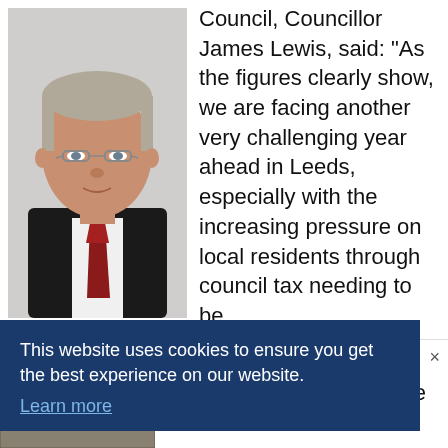[Figure (photo): Headshot of Councillor James Lewis, a middle-aged man with glasses, wearing a dark suit and red tie, against a light background.]
Councillor James Lewis
Council, Councillor James Lewis, said: “As the figures clearly show, we are facing another very challenging year ahead in Leeds, especially with the increasing pressure on local residents through council tax needing to be stretched to cover more ... local care
This website uses cookies to ensure you get the best experience on our website.
Learn more
[Figure (photo): Outdoor wall-mounted light fixture with a smart bulb camera installed, stone wall background.]
Home Light Bulb Camera For Easy Installation.
Keilini | Sponsored